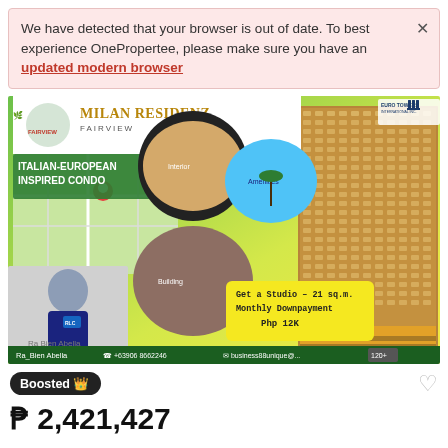We have detected that your browser is out of date. To best experience OnePropertee, please make sure you have an updated modern browser
[Figure (photo): Real estate advertisement for Milan Residenze Fairview, an Italian-European Inspired Condo. Shows building exterior, amenities, map, and a man. Text: Get a Studio – 21 sq.m. Monthly Downpayment Php 12K. Contact: Ra_Bien Abella +63906 8662246 business88unique@...]
Boosted
₱ 2,421,427